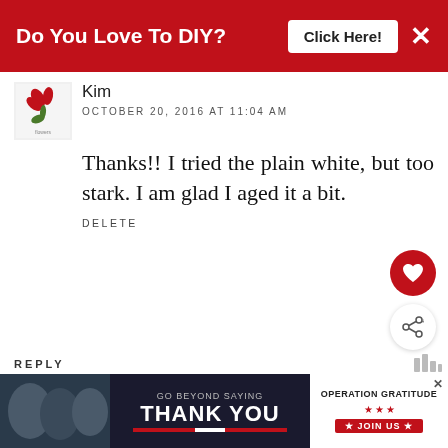[Figure (screenshot): Red banner advertisement: 'Do You Love To DIY? Click Here!' with X close button]
Kim
OCTOBER 20, 2016 AT 11:04 AM
Thanks!! I tried the plain white, but too stark. I am glad I aged it a bit.
DELETE
REPLY
Angela
OCTOBER 18, 2016 AT 10:11 PM
That is talent! Some people are born
[Figure (screenshot): Advertisement banner: 'Go Beyond Saying Thank You - Operation Gratitude - Join Us']